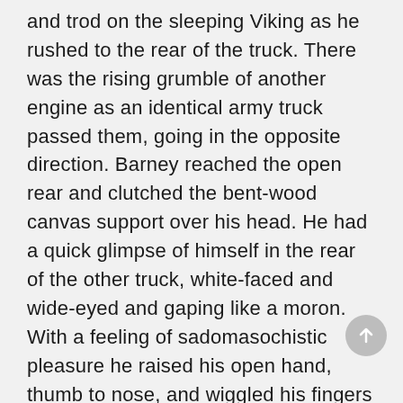and trod on the sleeping Viking as he rushed to the rear of the truck. There was the rising grumble of another engine as an identical army truck passed them, going in the opposite direction. Barney reached the open rear and clutched the bent-wood canvas support over his head. He had a quick glimpse of himself in the rear of the other truck, white-faced and wide-eyed and gaping like a moron. With a feeling of sadomasochistic pleasure he raised his open hand, thumb to nose, and wiggled his fingers at his shocked other self. The rock headland came in between them.
“Get much traffic around here?” Gino asked.
Ottomoot up, rubbing his side, muttering